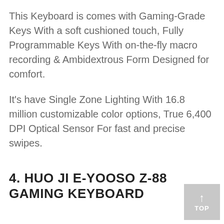This Keyboard is comes with Gaming-Grade Keys With a soft cushioned touch, Fully Programmable Keys With on-the-fly macro recording & Ambidextrous Form Designed for comfort.
It's have Single Zone Lighting With 16.8 million customizable color options, True 6,400 DPI Optical Sensor For fast and precise swipes.
4. HUO JI E-YOOSO Z-88 GAMING KEYBOARD